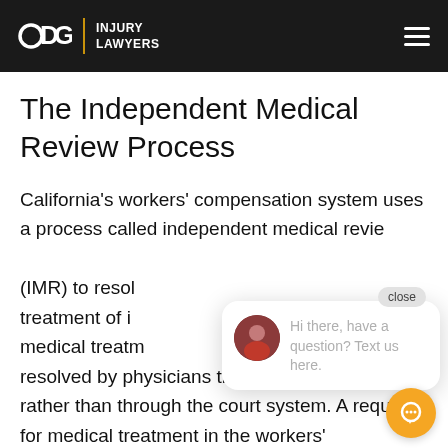ODG | INJURY LAWYERS
The Independent Medical Review Process
California's workers' compensation system uses a process called independent medical review (IMR) to resolve disputes about medical treatment of injured workers. Disputes about medical treatment are resolved by physicians through this process rather than through the court system. A request for medical treatment in the workers'
[Figure (other): Chat widget overlay with close button, avatar of a woman, and text 'Hi there, have a question? Text us here.' and an orange chat bubble button.]